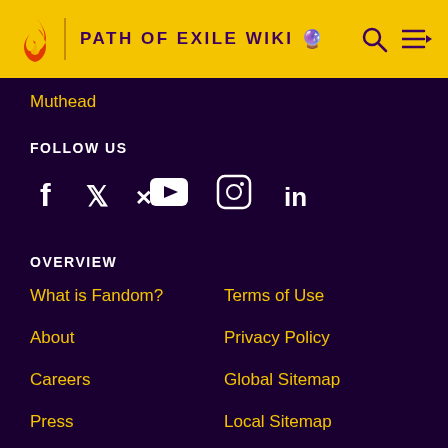PATH OF EXILE WIKI
Muthead
FOLLOW US
[Figure (other): Social media icons: Facebook, Twitter, YouTube, Instagram, LinkedIn]
OVERVIEW
What is Fandom?
Terms of Use
About
Privacy Policy
Careers
Global Sitemap
Press
Local Sitemap
Contact